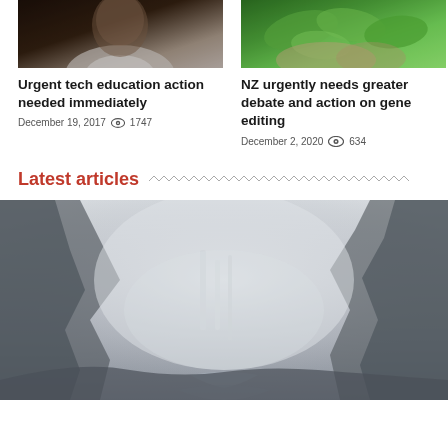[Figure (photo): Person in dark clothing with white collar, portrait style]
[Figure (photo): Hands holding green leafy vegetables, agriculture/gardening scene]
Urgent tech education action needed immediately
December 19, 2017   👁  1747
NZ urgently needs greater debate and action on gene editing
December 2, 2020   👁  634
Latest articles
[Figure (photo): Misty mountain landscape with waterfall and river, foggy valley scene]